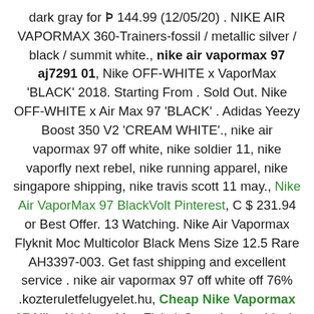dark gray for ₪ 144.99 (12/05/20) . NIKE AIR VAPORMAX 360-Trainers-fossil / metallic silver / black / summit white., nike air vapormax 97 aj7291 01, Nike OFF-WHITE x VaporMax 'BLACK' 2018. Starting From . Sold Out. Nike OFF-WHITE x Air Max 97 'BLACK' . Adidas Yeezy Boost 350 V2 'CREAM WHITE'., nike air vapormax 97 off white, nike soldier 11, nike vaporfly next rebel, nike running apparel, nike singapore shipping, nike travis scott 11 may., Nike Air VaporMax 97 BlackVolt Pinterest, C $ 231.94 or Best Offer. 13 Watching. Nike Air Vapormax Flyknit Moc Multicolor Black Mens Size 12.5 Rare AH3397-003. Get fast shipping and excellent service . nike air vapormax 97 off white off 76% .kozteruletfelugyelet.hu, Cheap Nike Vapormax 97 Nike Air VaporMax Flyknit 3 men's shoe black. 146.97 . Men's Nike Air Vapormax 2019 Size 8.5 EUR 43 (ci6400 001) Black / Volt / Wolf Gray. 148.37, vapormax neon 95 Cheap Nike Air Max Shoes 1 90 95 97.